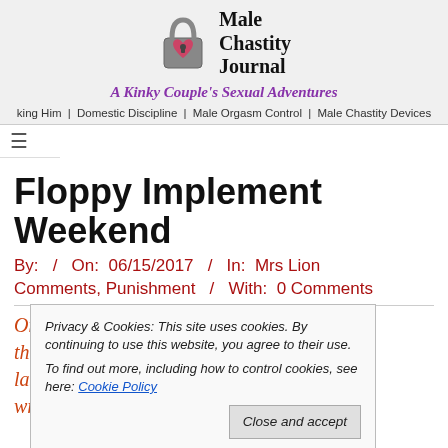[Figure (logo): Male Chastity Journal logo with padlock/heart icon and site name text]
Male Chastity Journal
A Kinky Couple's Sexual Adventures
king Him | Domestic Discipline | Male Orgasm Control | Male Chastity Devices
Floppy Implement Weekend
By:  /  On: 06/15/2017  /  In: Mrs Lion Comments, Punishment  /  With: 0 Comments
On Saturday morning I was thinking about the tawse I used on Lion last night. I don't like it. There's nothing wrong with the quality. It's well made and
Privacy & Cookies: This site uses cookies. By continuing to use this website, you agree to their use. To find out more, including how to control cookies, see here: Cookie Policy